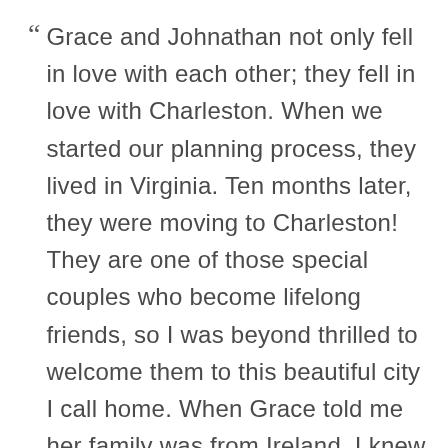“ Grace and Johnathan not only fell in love with each other; they fell in love with Charleston. When we started our planning process, they lived in Virginia. Ten months later, they were moving to Charleston! They are one of those special couples who become lifelong friends, so I was beyond thrilled to welcome them to this beautiful city I call home. When Grace told me her family was from Ireland, I knew Hibernian Hall was going to be the place for them. Not only does it pay homage to her heritage, but the